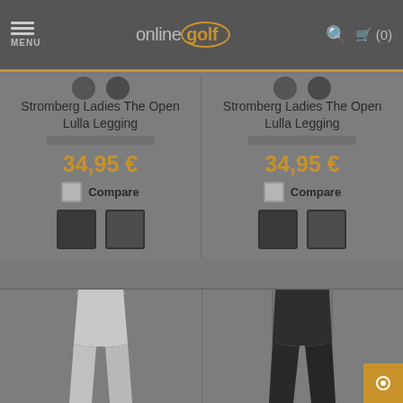MENU | onlinegolf | (0)
Stromberg Ladies The Open Lulla Legging
34,95 €
Compare
Stromberg Ladies The Open Lulla Legging
34,95 €
Compare
[Figure (photo): Light grey legging product image, bottom half visible]
[Figure (photo): Dark grey/black legging product image, bottom half visible]